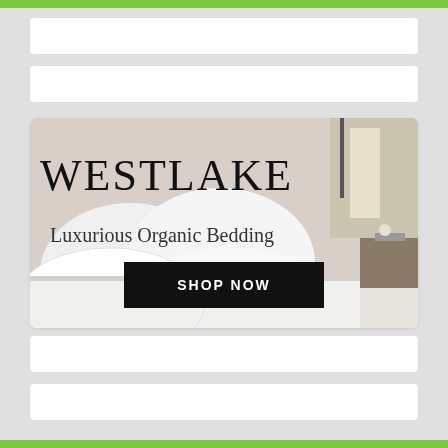[Figure (illustration): Advertisement for Westlake Luxurious Organic Bedding. Shows a styled bedroom with white pillows and bedding. Large serif text reads WESTLAKE, below it Luxurious Organic Bedding, and a black button with SHOP NOW.]
WESTLAKE
Luxurious Organic Bedding
SHOP NOW